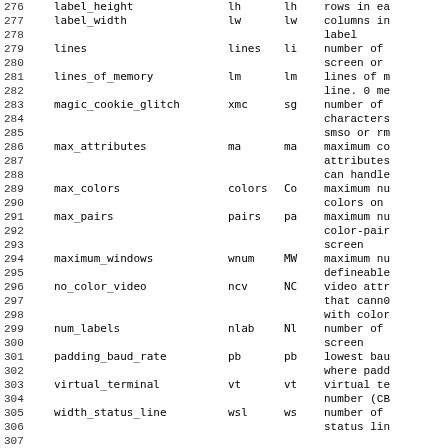| # | Name | Terminfo | Termcap | Description |
| --- | --- | --- | --- | --- |
| 276 | label_height | lh | lh | rows in ea |
| 277 | label_width | lw | lw | columns in |
| 278 |  |  |  | label |
| 279 | lines | lines | li | number of |
| 280 |  |  |  | screen or |
| 281 | lines_of_memory | lm | lm | lines of m |
| 282 |  |  |  | line. 0 me |
| 283 | magic_cookie_glitch | xmc | sg | number of |
| 284 |  |  |  | characters |
| 285 |  |  |  | smso or rm |
| 286 | max_attributes | ma | ma | maximum co |
| 287 |  |  |  | attributes |
| 288 |  |  |  | can handle |
| 289 | max_colors | colors | Co | maximum nu |
| 290 |  |  |  | colors on |
| 291 | max_pairs | pairs | pa | maximum nu |
| 292 |  |  |  | color-pair |
| 293 |  |  |  | screen |
| 294 | maximum_windows | wnum | MW | maximum nu |
| 295 |  |  |  | defineable |
| 296 | no_color_video | ncv | NC | video attr |
| 297 |  |  |  | that cann0 |
| 298 |  |  |  | with color |
| 299 | num_labels | nlab | Nl | number of |
| 300 |  |  |  | screen |
| 301 | padding_baud_rate | pb | pb | lowest bau |
| 302 |  |  |  | where padd |
| 303 | virtual_terminal | vt | vt | virtual te |
| 304 |  |  |  | number (CB |
| 305 | width_status_line | wsl | ws | number of |
| 306 |  |  |  | status lin |
| 307 |  |  |  |  |